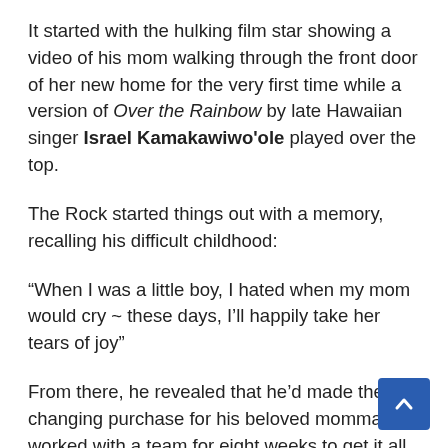It started with the hulking film star showing a video of his mom walking through the front door of her new home for the very first time while a version of Over the Rainbow by late Hawaiian singer Israel Kamakawiwo'ole played over the top.
The Rock started things out with a memory, recalling his difficult childhood:
“When I was a little boy, I hated when my mom would cry ~ these days, I’ll happily take her tears of joy”
From there, he revealed that he’d made the life-changing purchase for his beloved momma and worked with a team for eight weeks to get it all ready! The actor explained how he wanted this